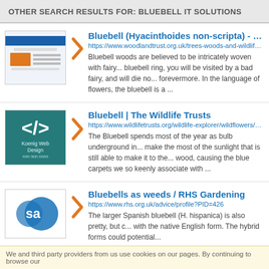OTHER SEARCH RESULTS FOR: BLUEBELL IT SOLUTIONS
[Figure (screenshot): Screenshot of a website with a blue header bar and orange graphic elements]
Bluebell (Hyacinthoides non-scripta) - Wood...
https://www.woodlandtrust.org.uk/trees-woods-and-wildlife/pl...
Bluebell woods are believed to be intricately woven with fairy... bluebell ring, you will be visited by a bad fairy, and will die no... forevermore. In the language of flowers, the bluebell is a ...
[Figure (logo): Koenig Web Design logo on teal background with angular KD symbol]
Bluebell | The Wildlife Trusts
https://www.wildlifetrusts.org/wildlife-explorer/wildflowers/blue...
The Bluebell spends most of the year as bulb underground in... make the most of the sunlight that is still able to make it to the... wood, causing the blue carpets we so keenly associate with ...
[Figure (logo): SA logo on white background]
Bluebells as weeds / RHS Gardening
https://www.rhs.org.uk/advice/profile?PID=426
The larger Spanish bluebell (H. hispanica) is also pretty, but c... with the native English form. The hybrid forms could potential...
We and third party providers from us use cookies on our pages. By continuing to browse our